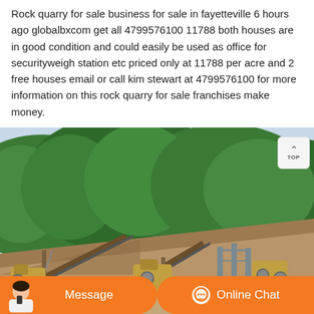Rock quarry for sale business for sale in fayetteville 6 hours ago globalbxcom get all 4799576100 11788 both houses are in good condition and could easily be used as office for securityweigh station etc priced only at 11788 per acre and 2 free houses email or call kim stewart at 4799576100 for more information on this rock quarry for sale franchises make money.
[Figure (photo): Outdoor photograph of a rock quarry operation on a hillside with dense green forest in the background. Industrial mining equipment including conveyor belts, crushers, and machinery visible on a dirt slope. A yellow bulldozer is visible on the right side.]